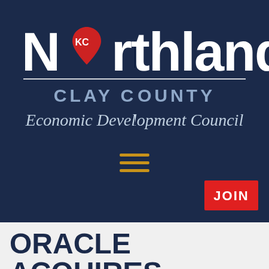[Figure (logo): Northland KC Clay County Economic Development Council logo on dark navy background]
ORACLE ACQUIRES